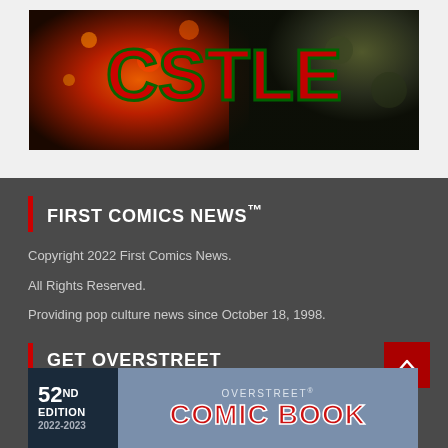[Figure (illustration): Comic book cover image fragment with fiery red and green text logo ('Castle' or similar) on dark background with explosions]
FIRST COMICS NEWS™
Copyright 2022 First Comics News.
All Rights Reserved.
Providing pop culture news since October 18, 1998.
GET OVERSTREET
[Figure (illustration): Overstreet Comic Book Price Guide 52nd Edition 2022-2023 cover banner image]